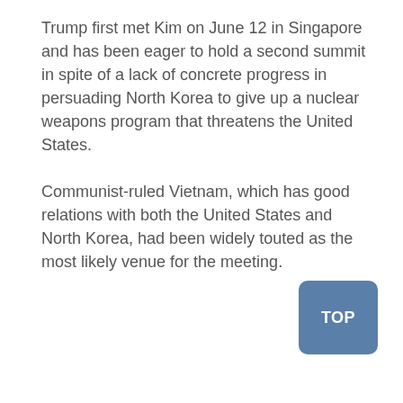Trump first met Kim on June 12 in Singapore and has been eager to hold a second summit in spite of a lack of concrete progress in persuading North Korea to give up a nuclear weapons program that threatens the United States.
Communist-ruled Vietnam, which has good relations with both the United States and North Korea, had been widely touted as the most likely venue for the meeting.